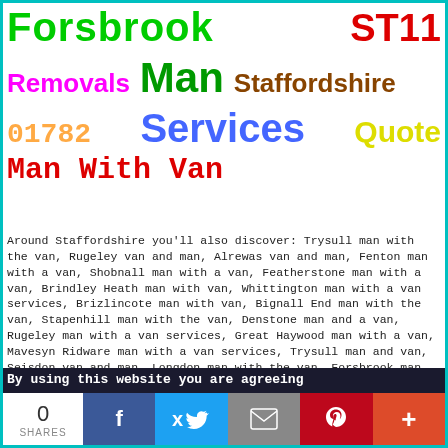Forsbrook   ST11
Removals  Man  Staffordshire
01782  Services  Quote
Man With Van
Around Staffordshire you'll also discover: Trysull man with the van, Rugeley van and man, Alrewas van and man, Fenton man with a van, Shobnall man with a van, Featherstone man with a van, Brindley Heath man with van, Whittington man with a van services, Brizlincote man with van, Bignall End man with the van, Stapenhill man with the van, Denstone man and a van, Rugeley man with a van services, Great Haywood man with a van, Mavesyn Ridware man with a van services, Trysull man and van, Seisdon van and man, Longdon man with the van, Forsbrook man with a van, Uttoxeter van and man, Shobnall man with a van services, Endon man and a van, Brindley Heath man and van, Fulford man with the van,
By using this website you are agreeing
0 SHARES
f  Twitter  Email  Pinterest  +